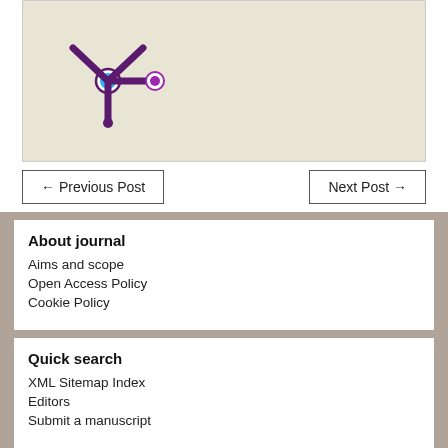[Figure (logo): Scientific journal logo — purple asterisk/star shape with cyan and purple circle nodes on arms, set against a beige/cream background]
← Previous Post
Next Post →
About journal
Aims and scope
Open Access Policy
Cookie Policy
Quick search
XML Sitemap Index
Editors
Submit a manuscript